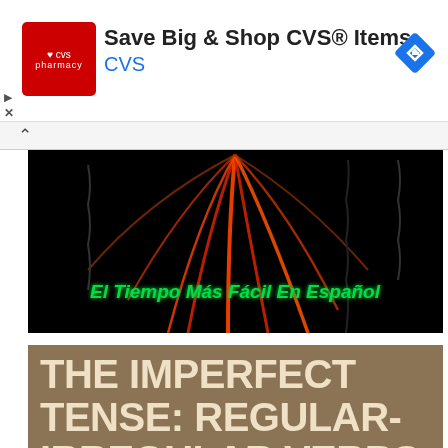[Figure (infographic): CVS Pharmacy advertisement banner with red CVS logo, bold text 'Save Big & Shop CVS® Items', blue 'CVS' subtitle, and blue navigation diamond icon on the right]
[Figure (photo): Dark background with glowing red and orange curved lines resembling fireworks or abstract art, with green glowing text overlay 'El Tiempo Más Fácil En Español']
THE IMPERFECT TENSE: REGULAR-IRREGULAR VERBS